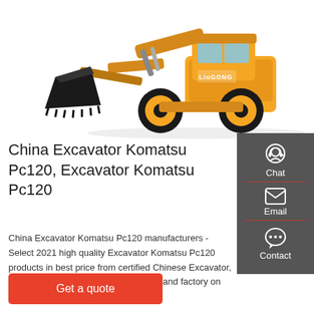[Figure (photo): Yellow LiuGong wheel loader / front loader construction machine with a large black bucket, on white background]
[Figure (infographic): Sidebar with three contact options: Chat (headset icon), Email (envelope icon), Contact (speech bubble icon), on dark gray background with red dividers]
China Excavator Komatsu Pc120, Excavator Komatsu Pc120
China Excavator Komatsu Pc120 manufacturers - Select 2021 high quality Excavator Komatsu Pc120 products in best price from certified Chinese Excavator, Excavator Part suppliers, wholesalers and factory on Made-in-China.com
Get a quote